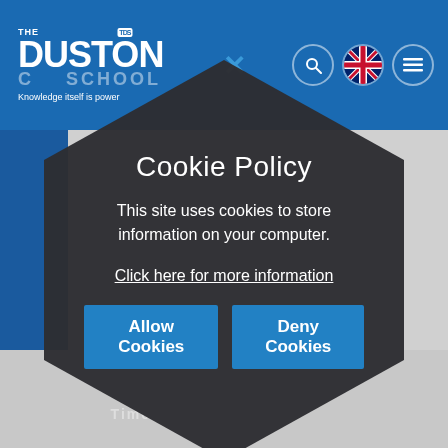THE DUSTON TDS SCHOOL — Knowledge itself is power
[Figure (screenshot): School website header with logo, close X, search, UK flag, and menu icons. Background shows T Levels and timetable content obscured by cookie consent overlay.]
Cookie Policy
This site uses cookies to store information on your computer.
Click here for more information
Allow Cookies
Deny Cookies